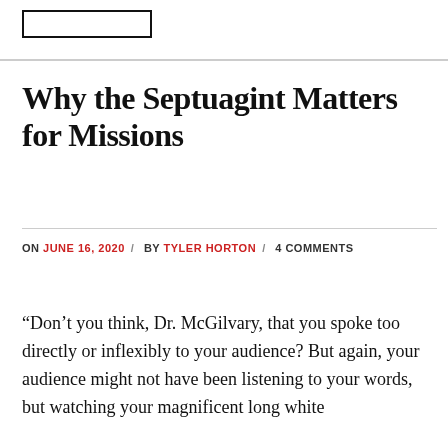Why the Septuagint Matters for Missions
ON JUNE 16, 2020 / BY TYLER HORTON / 4 COMMENTS
“Don’t you think, Dr. McGilvary, that you spoke too directly or inflexibly to your audience? But again, your audience might not have been listening to your words, but watching your magnificent long white